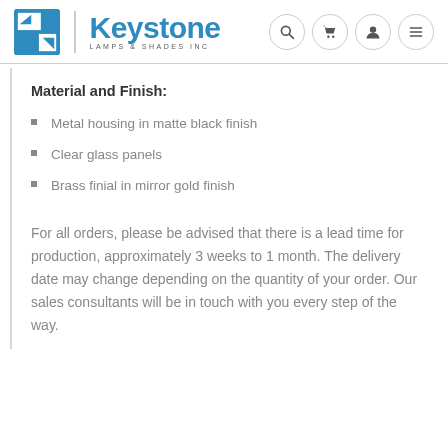Keystone Lamps & Shades Inc
Material and Finish:
Metal housing in matte black finish
Clear glass panels
Brass finial in mirror gold finish
For all orders, please be advised that there is a lead time for production, approximately 3 weeks to 1 month. The delivery date may change depending on the quantity of your order. Our sales consultants will be in touch with you every step of the way.